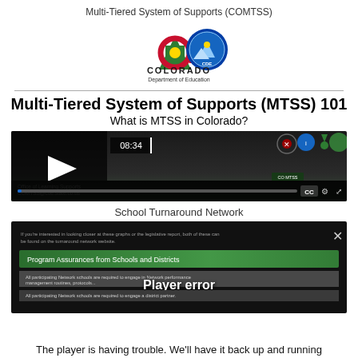Multi-Tiered System of Supports (COMTSS)
[Figure (logo): Colorado Department of Education logo with mountain/flag icon and CDE seal]
Multi-Tiered System of Supports (MTSS) 101
What is MTSS in Colorado?
[Figure (screenshot): Video player showing MTSS video at 08:34 timestamp with play button, progress bar, CC, settings, and fullscreen controls. Green gradient background with CO MTSS branding.]
School Turnaround Network
[Figure (screenshot): Video player with error state showing Program Assurances from Schools and Districts slide. Overlay text reads 'Player error'. Content mentions participating Network schools required to engage in Network performance management routines, protocols, and a district partner.]
The player is having trouble. We'll have it back up and running